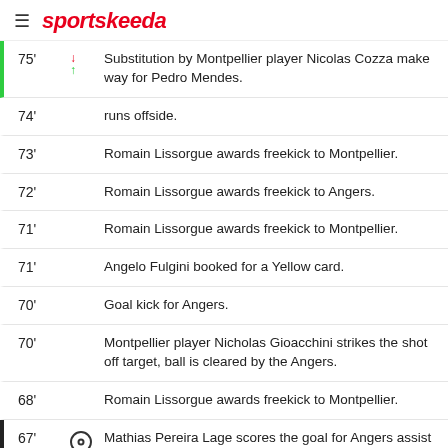sportskeeda
75' Substitution by Montpellier player Nicolas Cozza make way for Pedro Mendes.
74' runs offside.
73' Romain Lissorgue awards freekick to Montpellier.
72' Romain Lissorgue awards freekick to Angers.
71' Romain Lissorgue awards freekick to Montpellier.
71' Angelo Fulgini booked for a Yellow card.
70' Goal kick for Angers.
70' Montpellier player Nicholas Gioacchini strikes the shot off target, ball is cleared by the Angers.
68' Romain Lissorgue awards freekick to Montpellier.
67' Mathias Pereira Lage scores the goal for Angers assist by Batista Mendy score 2-0.
66' Angers player Mohamed Ali Cho hits a shot, successfully blocked by Montpellier.